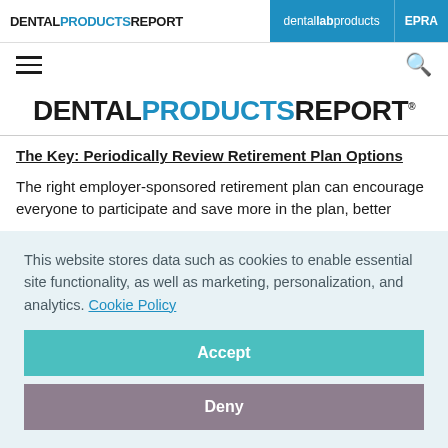DENTAL PRODUCTS REPORT | dental lab products | PRAC
[Figure (logo): Dental Products Report logo - large centered masthead with DENTAL in black, PRODUCTS in blue, REPORT in black, all caps bold]
The Key: Periodically Review Retirement Plan Options
The right employer-sponsored retirement plan can encourage everyone to participate and save more in the plan, better
This website stores data such as cookies to enable essential site functionality, as well as marketing, personalization, and analytics. Cookie Policy
Accept
Deny